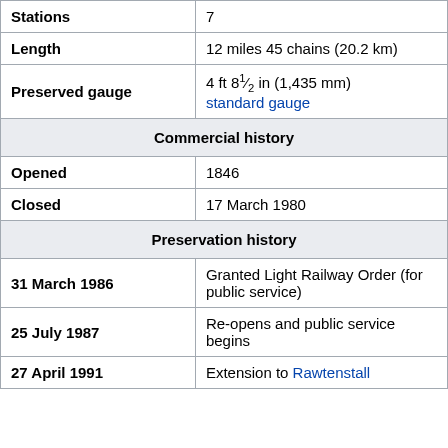| Field | Value |
| --- | --- |
| Stations | 7 |
| Length | 12 miles 45 chains (20.2 km) |
| Preserved gauge | 4 ft 8½ in (1,435 mm) standard gauge |
| Commercial history |  |
| Opened | 1846 |
| Closed | 17 March 1980 |
| Preservation history |  |
| 31 March 1986 | Granted Light Railway Order (for public service) |
| 25 July 1987 | Re-opens and public service begins |
| 27 April 1991 | Extension to Rawtenstall |